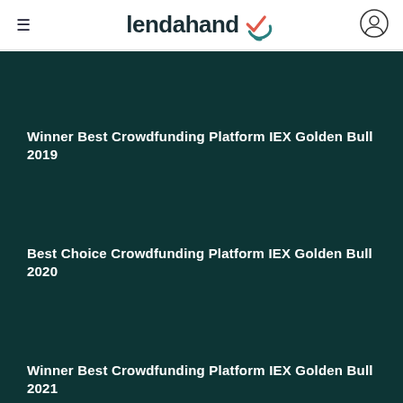lendahand
Winner Best Crowdfunding Platform IEX Golden Bull 2019
Best Choice Crowdfunding Platform IEX Golden Bull 2020
Winner Best Crowdfunding Platform IEX Golden Bull 2021